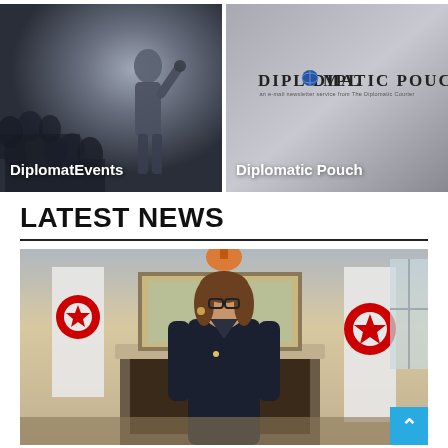[Figure (photo): Conference scene with audience and a woman speaking/presenting in the foreground, dark and moody lighting. Label overlay: DiplomatEvents]
[Figure (logo): Diplomatic Pouch logo text on gray background with label overlay: Diplomatic Pouch]
LATEST NEWS
[Figure (photo): Woman in dark jacket wearing glasses stands in a formal room with Tunisian flags on either side. A fireplace and painting are visible in the background.]